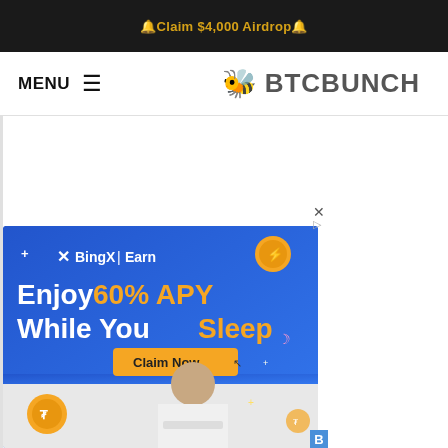🔔Claim $4,000 Airdrop🔔
MENU ☰
🐝 BTCBUNCH
[Figure (screenshot): BingX Earn advertisement banner. Blue gradient background. Top: BingX | Earn logo with X icon and golden coin. Main text in white: 'Enjoy 60% APY While You Sleep' with '60% APY' and 'Sleep' in gold/orange. Yellow 'Claim Now' button with cursor icon. Bottom: smiling bearded man in white shirt with laptop, decorative coins and sparkle elements.]